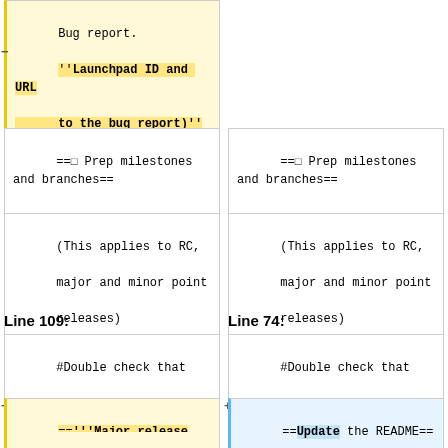Bug report. ''Launchpad ID and URL to the bug report)''
== Prep milestones and branches==
(This applies to RC, major and minor point releases)
== Prep milestones and branches==
(This applies to RC, major and minor point releases)
Line 109:
Line 74:
#Double check that 'Keep the X.Y.Z milestone active' remains '''unchecked'''.
#Double check that 'Keep the X.Y.Z milestone active' remains '''unchecked'''.
=='''Major release (M)'''===
== Update the README==
These are done at the